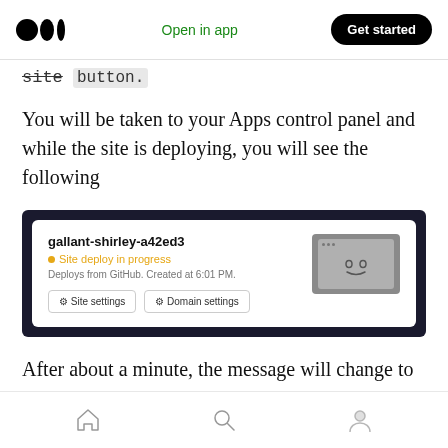Medium logo | Open in app | Get started
site button.
You will be taken to your Apps control panel and while the site is deploying, you will see the following
[Figure (screenshot): Netlify deploy control panel screenshot showing: gallant-shirley-a42ed3, Site deploy in progress, Deploys from GitHub. Created at 6:01 PM. Buttons: Site settings, Domain settings. With a smiley browser icon.]
After about a minute, the message will change to
Home | Search | Profile navigation icons